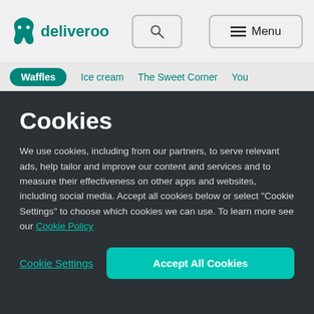[Figure (logo): Deliveroo logo with kangaroo icon and wordmark in teal]
Deliveroo header with search and menu buttons
Waffles | Ice cream | The Sweet Corner | You
Cookies
We use cookies, including from our partners, to serve relevant ads, help tailor and improve our content and services and to measure their effectiveness on other apps and websites, including social media. Accept all cookies below or select “Cookie Settings” to choose which cookies we can use. To learn more see our Cookie Policy
Cookie Settings | Accept All Cookies